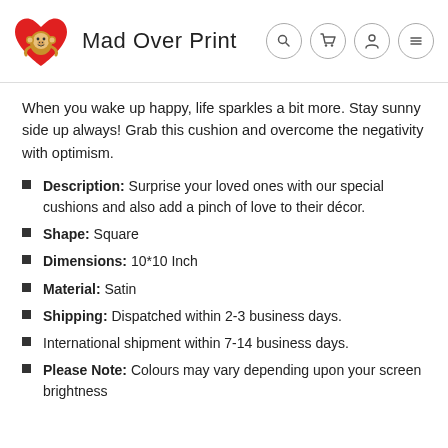[Figure (logo): Mad Over Print logo: monkey on red heart with brand name text]
When you wake up happy, life sparkles a bit more. Stay sunny side up always! Grab this cushion and overcome the negativity with optimism.
Description: Surprise your loved ones with our special cushions and also add a pinch of love to their décor.
Shape: Square
Dimensions: 10*10 Inch
Material: Satin
Shipping: Dispatched within 2-3 business days.
International shipment within 7-14 business days.
Please Note: Colours may vary depending upon your screen brightness